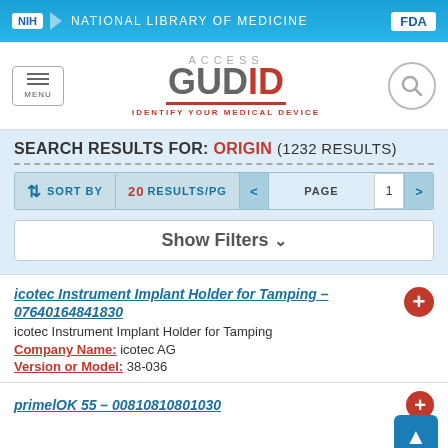NIH NATIONAL LIBRARY OF MEDICINE | FDA
[Figure (logo): ACCESS GUDID - Identify Your Medical Device logo with menu button and search icon]
SEARCH RESULTS FOR: Origin (1232 results)
SORT BY | 20 RESULTS/PG | PAGE 1
Show Filters
icotec Instrument Implant Holder for Tamping – 07640164841830
icotec Instrument Implant Holder for Tamping
Company Name: icotec AG
Version or Model: 38-036
primelOK 55 – (truncated)